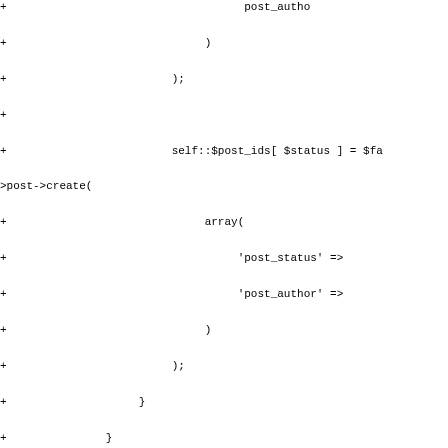[Figure (other): Code diff fragment showing PHP code with + prefix on each line, including self::$post_ids assignment, array creation, setUp() function with parent::setUp(), self::$last_posts_request assignment, add_filter call, and start of a docblock comment]